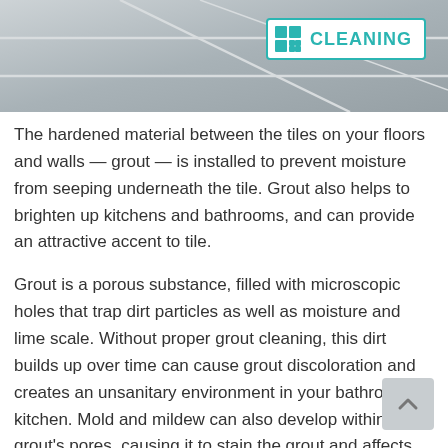[Figure (photo): Photo of tile surface with grout lines and a teal CLEANING badge/logo in the upper right corner]
The hardened material between the tiles on your floors and walls — grout — is installed to prevent moisture from seeping underneath the tile. Grout also helps to brighten up kitchens and bathrooms, and can provide an attractive accent to tile.
Grout is a porous substance, filled with microscopic holes that trap dirt particles as well as moisture and lime scale. Without proper grout cleaning, this dirt builds up over time can cause grout discoloration and creates an unsanitary environment in your bathroom or kitchen. Mold and mildew can also develop within the grout's pores, causing it to stain the grout and affects appearance of the grout.
The Grout Medic of Charlotte is proud of offer grout cleaning services…